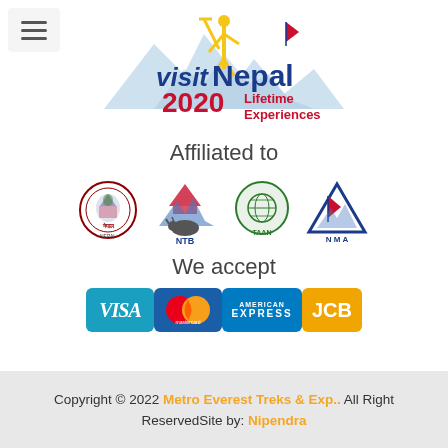[Figure (logo): Visit Nepal 2020 Lifetime Experiences logo with mountains and figure]
Affiliated to
[Figure (logo): Four affiliation logos: Nepal government emblem, NTB (Nepal Tourism Board), TAAN, NMA (Nepal Mountaineering Association)]
We accept
[Figure (logo): Payment method logos: VISA, Mastercard, American Express, JCB]
Copyright © 2022 Metro Everest Treks & Exp.. All Right ReservedSite by: Nipendra